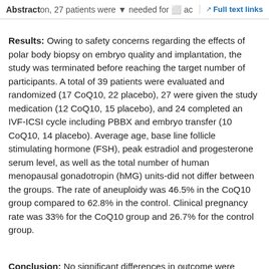Abstract  on, 27 patients were needed for ac  Full text links
Results: Owing to safety concerns regarding the effects of polar body biopsy on embryo quality and implantation, the study was terminated before reaching the target number of participants. A total of 39 patients were evaluated and randomized (17 CoQ10, 22 placebo), 27 were given the study medication (12 CoQ10, 15 placebo), and 24 completed an IVF-ICSI cycle including PBBX and embryo transfer (10 CoQ10, 14 placebo). Average age, base line follicle stimulating hormone (FSH), peak estradiol and progesterone serum level, as well as the total number of human menopausal gonadotropin (hMG) units-did not differ between the groups. The rate of aneuploidy was 46.5% in the CoQ10 group compared to 62.8% in the control. Clinical pregnancy rate was 33% for the CoQ10 group and 26.7% for the control group.
Conclusion: No significant differences in outcome were